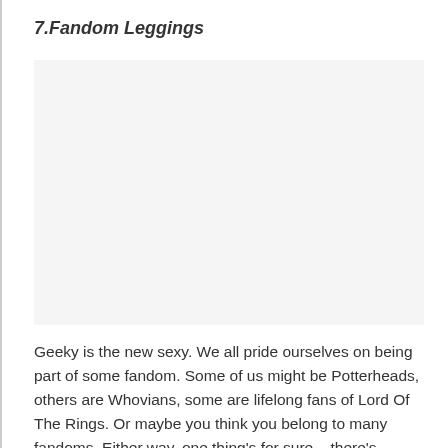7.Fandom Leggings
[Figure (photo): Image placeholder for fandom leggings product photo]
Geeky is the new sexy. We all pride ourselves on being part of some fandom. Some of us might be Potterheads, others are Whovians, some are lifelong fans of Lord Of The Rings. Or maybe you think you belong to many fandoms. Either way, one thing's for sure – there's definitely yoga pants for you. You can get those Harry